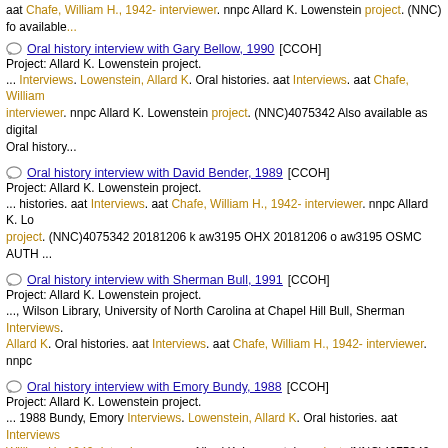aat Chafe, William H., 1942- interviewer. nnpc Allard K. Lowenstein project. (NNC) available...
Oral history interview with Gary Bellow, 1990 [CCOH]
Project: Allard K. Lowenstein project.
... Interviews. Lowenstein, Allard K. Oral histories. aat Interviews. aat Chafe, William interviewer. nnpc Allard K. Lowenstein project. (NNC)4075342 Also available as digital Oral history...
Oral history interview with David Bender, 1989 [CCOH]
Project: Allard K. Lowenstein project.
... histories. aat Interviews. aat Chafe, William H., 1942- interviewer. nnpc Allard K. Lo project. (NNC)4075342 20181206 k aw3195 OHX 20181206 o aw3195 OSMC AUTH ...
Oral history interview with Sherman Bull, 1991 [CCOH]
Project: Allard K. Lowenstein project.
..., Wilson Library, University of North Carolina at Chapel Hill Bull, Sherman Interviews. Allard K. Oral histories. aat Interviews. aat Chafe, William H., 1942- interviewer. nnpc
Oral history interview with Emory Bundy, 1988 [CCOH]
Project: Allard K. Lowenstein project.
... 1988 Bundy, Emory Interviews. Lowenstein, Allard K. Oral histories. aat Interviews William H., 1942- interviewer. nnpc Allard K. Lowenstein project. (NNC)4075342 Also digital...
Reminiscences of Ruth Goldberg : oral history, 1990 [CCOH]
Project: Allard K. Lowenstein project.
... works) aat http://vocab.getty.edu/aat/300202595 Interviews. aat http://vocab.getty.edu/aat/300026392 Chafe, William H., 1942- interviewer. http://id.loc.gov/authorities/names/n79059321 nnpc Allard K...
Oral history interview with Gary Bellow [electronic resource], 1990 [CC
Project: Allard K. Lowenstein project.